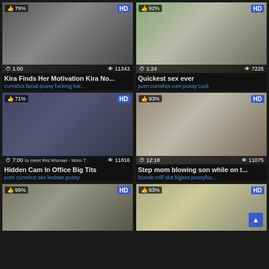[Figure (screenshot): Video thumbnail grid showing adult video website with 6 video cards in 2-column layout. Row 1: 'Kira Finds Her Motivation Kira No...' (79%, 1:00, 11343 views, HD) and 'Quickest sex ever' (92%, 1:24, 7225 views, HD). Row 2: 'Hidden Cam In Office Big Tits' (71%, 7:00, 11816 views, HD) and 'Step mom blowing son while on t...' (93%, 12:18, 11075 views, HD). Row 3: two partial thumbnails (99% HD, 83% HD).]